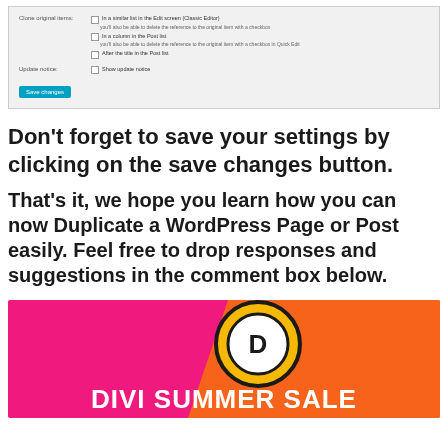[Figure (screenshot): WordPress settings panel showing 'Clone original items' and 'Update notice' options with checkboxes and a 'Save changes' button]
Don't forget to save your settings by clicking on the save changes button.
That's it, we hope you learn how you can now Duplicate a WordPress Page or Post easily. Feel free to drop responses and suggestions in the comment box below.
[Figure (illustration): Divi Summer Sale advertisement banner with pink/orange gradient background, yellow circle with D logo, and bold white text 'DIVI SUMMER SALE']